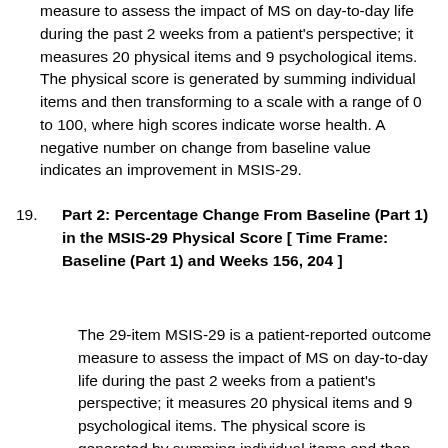measure to assess the impact of MS on day-to-day life during the past 2 weeks from a patient's perspective; it measures 20 physical items and 9 psychological items. The physical score is generated by summing individual items and then transforming to a scale with a range of 0 to 100, where high scores indicate worse health. A negative number on change from baseline value indicates an improvement in MSIS-29.
19. Part 2: Percentage Change From Baseline (Part 1) in the MSIS-29 Physical Score [ Time Frame: Baseline (Part 1) and Weeks 156, 204 ]
The 29-item MSIS-29 is a patient-reported outcome measure to assess the impact of MS on day-to-day life during the past 2 weeks from a patient's perspective; it measures 20 physical items and 9 psychological items. The physical score is generated by summing individual items and then transforming to a scale with a range of 0 to 100, where high scores indicate worse health. A